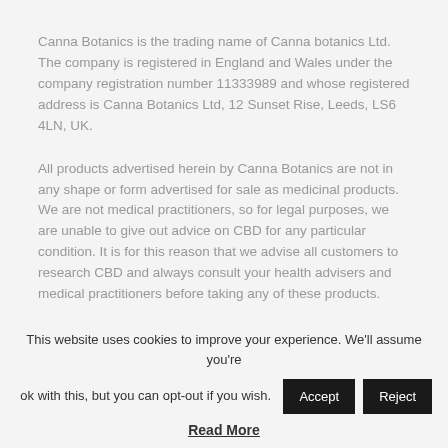Canna Botanics is the trading name of Canna botanics Ltd. The company is registered in England and Wales under the company registration number 11333989 and whose registered address is Canna Botanics Ltd, 12 Sunset Rise, Leeds, LS6 4LN, UK.
All products advertised herein by Canna Botanics are not in any shape or form advertised for sale as medicinal products. We are not medical practitioners, so for legal purposes, we are unable to give out advice on CBD for any particular condition. It is for this reason that we advise all customers to research CBD and always consult your health advisers and medical practitioners before taking any of these products.
This website uses cookies to improve your experience. We'll assume you're ok with this, but you can opt-out if you wish. [Accept] [Reject]
Read More